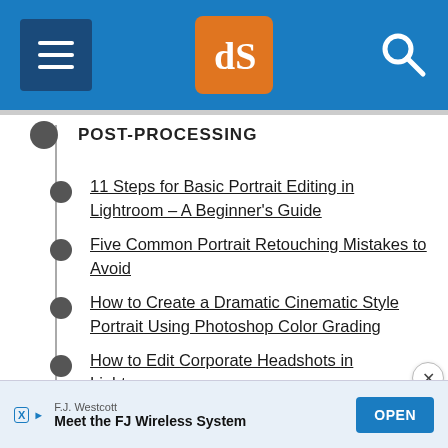dPS navigation header with hamburger menu, logo, and search
POST-PROCESSING
11 Steps for Basic Portrait Editing in Lightroom – A Beginner's Guide
Five Common Portrait Retouching Mistakes to Avoid
How to Create a Dramatic Cinematic Style Portrait Using Photoshop Color Grading
How to Edit Corporate Headshots in Lightroom
How to Create a Dark and Moody Rembrandt-
F.J. Westcott — Meet the FJ Wireless System — OPEN